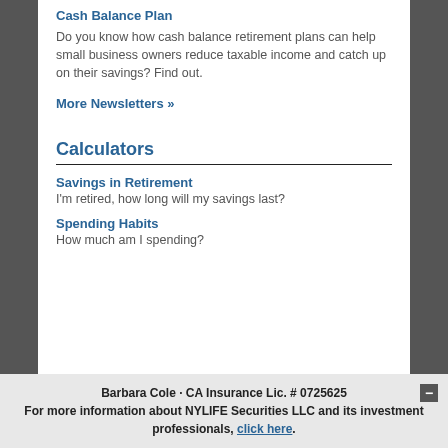Cash Balance Plan
Do you know how cash balance retirement plans can help small business owners reduce taxable income and catch up on their savings? Find out.
More Newsletters »
Calculators
Savings in Retirement
I'm retired, how long will my savings last?
Spending Habits
How much am I spending?
Barbara Cole · CA Insurance Lic. # 0725625
For more information about NYLIFE Securities LLC and its investment professionals, click here.